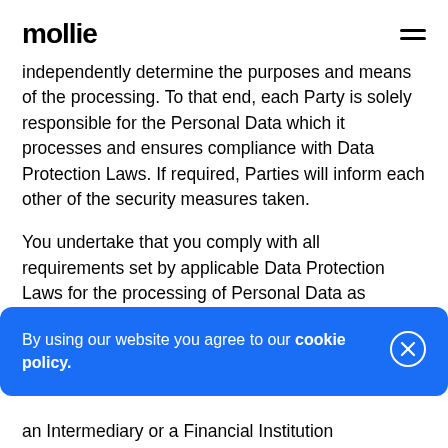mollie
independently determine the purposes and means of the processing. To that end, each Party is solely responsible for the Personal Data which it processes and ensures compliance with Data Protection Laws. If required, Parties will inform each other of the security measures taken.
You undertake that you comply with all requirements set by applicable Data Protection Laws for the processing of Personal Data as presented to the Payment
By using our website you agree to our cookie policy.
an Intermediary or a Financial Institution